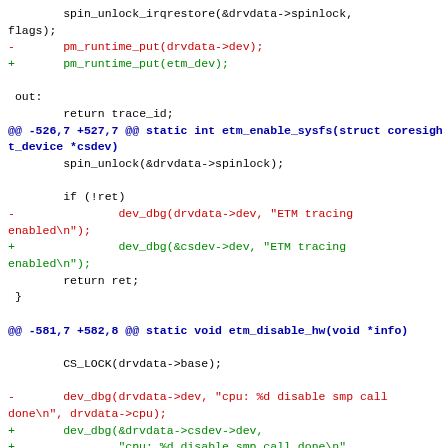spin_unlock_irqrestore(&drvdata->spinlock,
flags);
-       pm_runtime_put(drvdata->dev);
+       pm_runtime_put(etm_dev);

 out:
        return trace_id;
@@ -526,7 +527,7 @@ static int etm_enable_sysfs(struct coresight_device *csdev)
        spin_unlock(&drvdata->spinlock);

        if (!ret)
-               dev_dbg(drvdata->dev, "ETM tracing enabled\n");
+               dev_dbg(&csdev->dev, "ETM tracing enabled\n");
        return ret;
 }

@@ -581,7 +582,8 @@ static void etm_disable_hw(void *info)

        CS_LOCK(drvdata->base);

-       dev_dbg(drvdata->dev, "cpu: %d disable smp call done\n", drvdata->cpu);
+       dev_dbg(&drvdata->csdev->dev,
+               "cpu: %d disable smp call done\n",
drvdata->cpu);